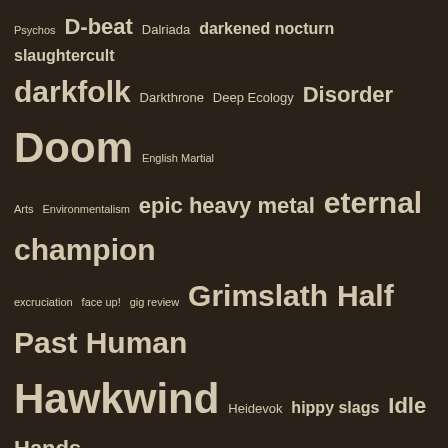[Figure (infographic): Tag cloud with music-related terms in varying font sizes on a dark brown background. Terms include: Psychos, D-beat, Dalriada, darkened nocturn slaughtercult, darkfolk, Darkthrone, Deep Ecology, Disorder, Doom, English Martial Arts, Environmentalism, epic heavy metal, eternal champion, excruciation, face up!, gig review, Grimslath, Half Past Human, Hawkwind, Heidevok, hippy slags, Idle Hands, interview, Jim Beerman, Jimmy Petkoff, Kambrium, Keep It True, keep it true review, Khold, Lugubrum, Lugubrum Trio, Manilla Road, Mark Shelton, Midnight, Necronautical, neofolk, Nervosa, Night People, NWOBHM, NWOTHM, Old Star, Pentti Linkola, Punk, Raven Black Night, review, Rotunda, Sarke, Satan, sieben, smart pils, Solstice, Sortilege, stig miller, Terry Brown, Texas Metal Legion, Thomas Bergli, thrash, To Kill A King, True Metal, Tulus, Tyr, UK82, Ved Buens Ende Live, void, Wakar Cartel, witherfall, Xentrix]